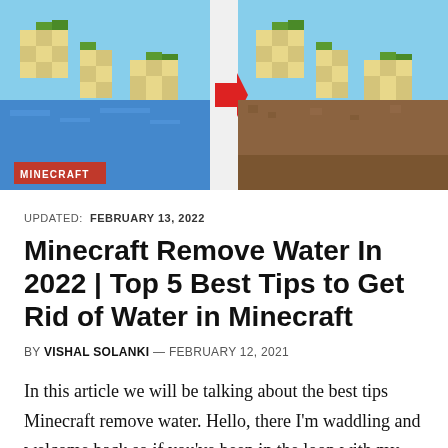[Figure (illustration): Minecraft game screenshot showing a before-and-after comparison with a red arrow in the center. Left side shows a Minecraft scene with blue water and sand/dirt blocks. Right side shows the same scene without water. A red 'MINECRAFT' badge label is in the bottom-left corner of the image.]
UPDATED:  FEBRUARY 13, 2022
Minecraft Remove Water In 2022 | Top 5 Best Tips to Get Rid of Water in Minecraft
BY VISHAL SOLANKI — FEBRUARY 12, 2021
In this article we will be talking about the best tips Minecraft remove water. Hello, there I'm waddling and welcome back so if you've been in the loop with my let's play series you would know that I've been draining an ocean more specifically I've been draining the ocean around an ocean monument. while doing this I have